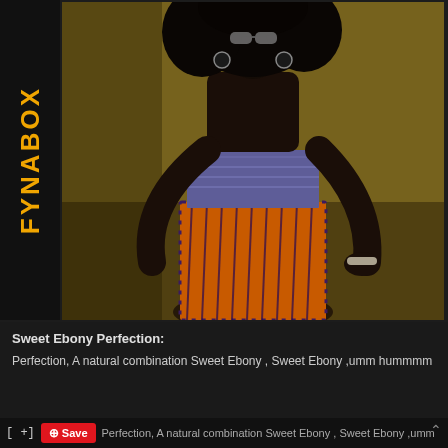[Figure (photo): Fashion photograph of a Black woman with large natural afro hair, wearing sunglasses, a strapless patterned/smocked top, and an orange African print skirt. She stands with hands on hips against a golden background. A vertical logo reading 'FYNABOX' appears on the left sidebar in orange.]
Sweet Ebony Perfection:
Perfection, A natural combination Sweet Ebony , Sweet Ebony ,umm hummmm
Perfection, A natural combination Sweet Ebony , Sweet Ebony ,umm